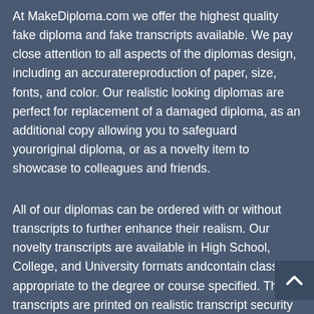At MakeDiploma.com we offer the highest quality fake diploma and fake transcripts available. We pay close attention to all aspects of the diplomas design, including an accuratereproduction of paper, size, fonts, and color. Our realistic looking diplomas are perfect for replacement of a damaged diploma, as an additional copy allowing you to safeguard youroriginal diploma, or as a novelty item to showcase to colleagues and friends.
All of our diplomas can be ordered with or without transcripts to further enhance their realism. Our novelty transcripts are available in High School, College, and University formats andcontain classes appropriate to the degree or course specified. The transcripts are printed on realistic transcript security paper with authentic anti-copying technology including, securitywarning border, hidden messages, and watermark, coin activated security back print, distinctive blue background, 60# quality paper and more
[Figure (other): Scroll-to-top button with up arrow chevron icon on dark blue background]